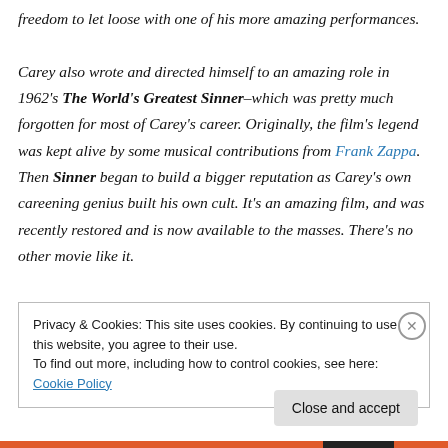freedom to let loose with one of his more amazing performances.

Carey also wrote and directed himself to an amazing role in 1962's The World's Greatest Sinner–which was pretty much forgotten for most of Carey's career. Originally, the film's legend was kept alive by some musical contributions from Frank Zappa. Then Sinner began to build a bigger reputation as Carey's own careening genius built his own cult. It's an amazing film, and was recently restored and is now available to the masses. There's no other movie like it.
Privacy & Cookies: This site uses cookies. By continuing to use this website, you agree to their use.
To find out more, including how to control cookies, see here: Cookie Policy
Close and accept